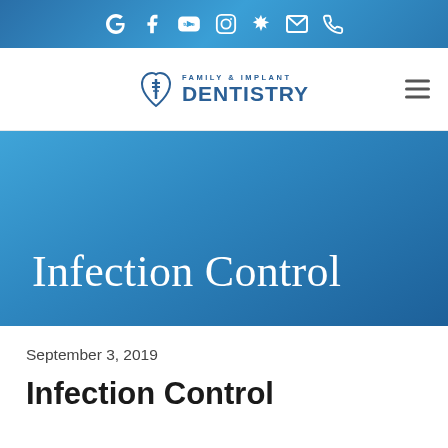[Figure (other): Top navigation bar with social media icons (Google, Facebook, YouTube, Instagram, Yelp, Email, Phone) on a blue gradient background]
[Figure (logo): MKE Family & Implant Dentistry logo with tooth icon, centered in white navigation bar with hamburger menu on right]
Infection Control
September 3, 2019
Infection Control